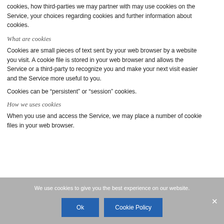cookies, how third-parties we may partner with may use cookies on the Service, your choices regarding cookies and further information about cookies.
What are cookies
Cookies are small pieces of text sent by your web browser by a website you visit. A cookie file is stored in your web browser and allows the Service or a third-party to recognize you and make your next visit easier and the Service more useful to you.
Cookies can be “persistent” or “session” cookies.
How we uses cookies
When you use and access the Service, we may place a number of cookie files in your web browser.
We use cookies to give you the best experience on our website.